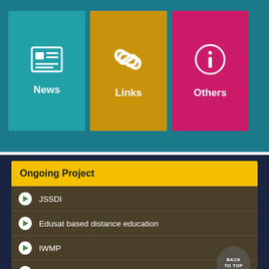[Figure (screenshot): Navigation tiles row with News (teal tile with newspaper icon), Links (gold tile with chain link icon), Others (pink tile with info icon)]
Ongoing Project
JSSDI
Edusat based distance education
IWMP
NUHM
Desertification Mapping
GIS Cell at Directorate of Geology